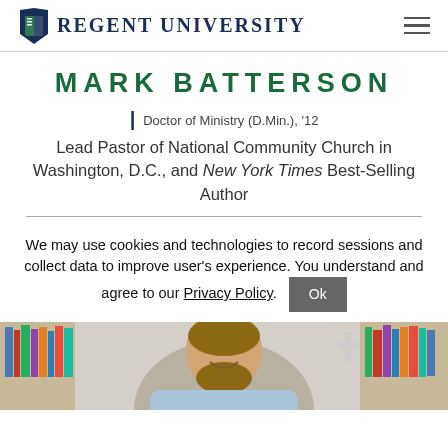REGENT UNIVERSITY
MARK BATTERSON
Doctor of Ministry (D.Min.), '12
Lead Pastor of National Community Church in Washington, D.C., and New York Times Best-Selling Author
We may use cookies and technologies to record sessions and collect data to improve user's experience. You understand and agree to our Privacy Policy.
[Figure (photo): Portrait photo of Mark Batterson smiling, seated in front of bookshelves]